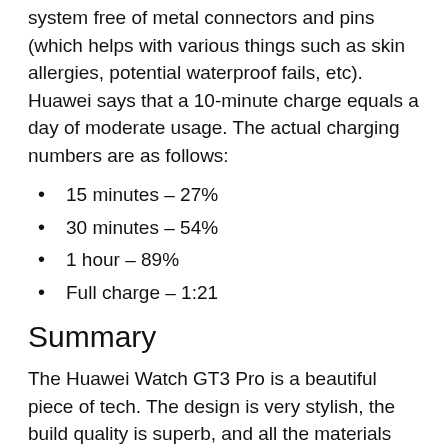The Watch GT3 Pro features a wireless charging system free of metal connectors and pins (which helps with various things such as skin allergies, potential waterproof fails, etc). Huawei says that a 10-minute charge equals a day of moderate usage. The actual charging numbers are as follows:
15 minutes – 27%
30 minutes – 54%
1 hour – 89%
Full charge – 1:21
Summary
The Huawei Watch GT3 Pro is a beautiful piece of tech. The design is very stylish, the build quality is superb, and all the materials used – top grade. There's a lot to like about this watch – it goes deep when tracking your vitals and as a fitness and health coach it does a terrific job. The battery life is...